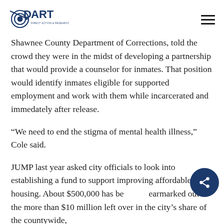DART — Direct Action & Research Training Center
Shawnee County Department of Corrections, told the crowd they were in the midst of developing a partnership that would provide a counselor for inmates. That position would identify inmates eligible for supported employment and work with them while incarcerated and immedately after release.
“We need to end the stigma of mental health illness,” Cole said.
JUMP last year asked city officials to look into establishing a fund to support improving affordable housing. About $500,000 has be… earmarked out of the more than $10 million left over in the city’s share of the countywide,